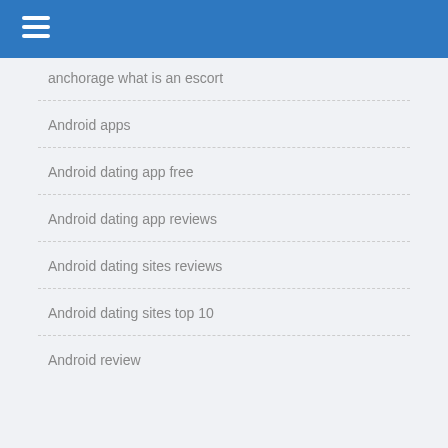anchorage what is an escort
Android apps
Android dating app free
Android dating app reviews
Android dating sites reviews
Android dating sites top 10
Android review